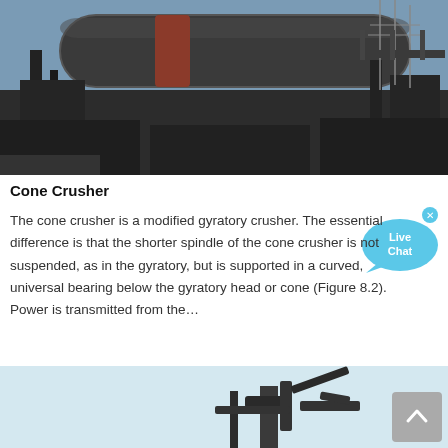[Figure (photo): Industrial cone crusher / rotary kiln machinery with large cylindrical drum, metal framework, and outdoor industrial background with power lines.]
Cone Crusher
The cone crusher is a modified gyratory crusher. The essential difference is that the shorter spindle of the cone crusher is not suspended, as in the gyratory, but is supported in a curved, universal bearing below the gyratory head or cone (Figure 8.2). Power is transmitted from the…
[Figure (photo): Bottom partial image of industrial crushing/mining equipment against a light blue sky background.]